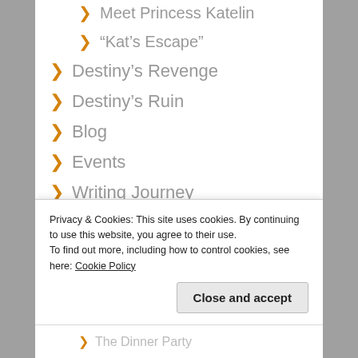Meet Princess Katelin
“Kat’s Escape”
Destiny’s Revenge
Destiny’s Ruin
Blog
Events
Writing Journey
One: A Good Idea
Two: Talent and Craft
Three: Characters
Privacy & Cookies: This site uses cookies. By continuing to use this website, you agree to their use.
To find out more, including how to control cookies, see here: Cookie Policy
The Dinner Party